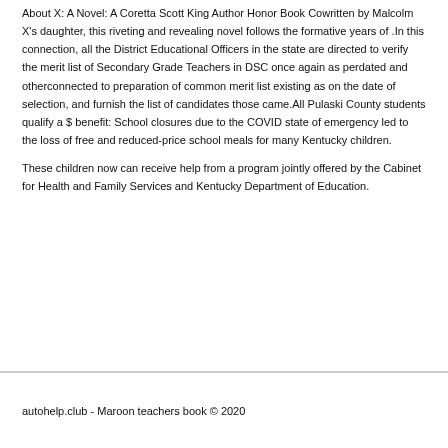About X: A Novel: A Coretta Scott King Author Honor Book Cowritten by Malcolm X's daughter, this riveting and revealing novel follows the formative years of .In this connection, all the District Educational Officers in the state are directed to verify the merit list of Secondary Grade Teachers in DSC once again as perdated and otherconnected to preparation of common merit list existing as on the date of selection, and furnish the list of candidates those came.All Pulaski County students qualify a $ benefit: School closures due to the COVID state of emergency led to the loss of free and reduced-price school meals for many Kentucky children.
These children now can receive help from a program jointly offered by the Cabinet for Health and Family Services and Kentucky Department of Education.
autohelp.club - Maroon teachers book © 2020